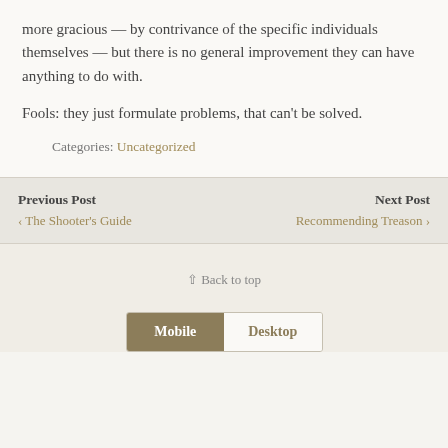more gracious — by contrivance of the specific individuals themselves — but there is no general improvement they can have anything to do with.
Fools: they just formulate problems, that can't be solved.
Categories: Uncategorized
Previous Post
‹ The Shooter's Guide
Next Post
Recommending Treason ›
⌃ Back to top
Mobile   Desktop